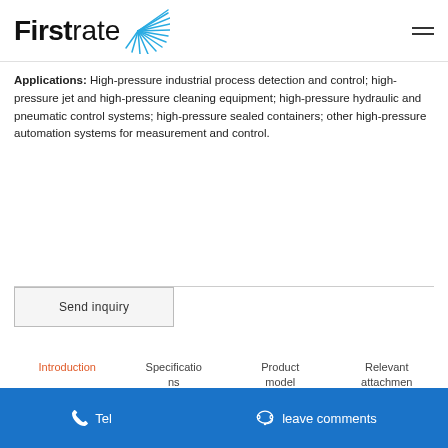Firstrate [logo]
Applications: High-pressure industrial process detection and control; high-pressure jet and high-pressure cleaning equipment; high-pressure hydraulic and pneumatic control systems; high-pressure sealed containers; other high-pressure automation systems for measurement and control.
Send inquiry
Introduction   Specifications   Product model   Relevant attachmen
Tel   leave comments